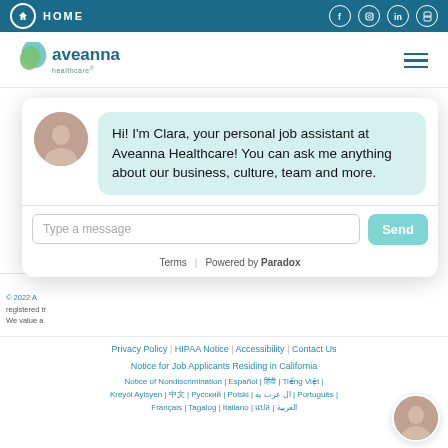HOME | Social icons: Facebook, Instagram, LinkedIn, Glassdoor
[Figure (logo): Aveanna Healthcare logo with teal/green leaf icon]
Aveanna healthcare
Ave... (partially visible nav links: L..., Fam..., Emplo..., Ref..., Private...)
Hi! I'm Clara, your personal job assistant at Aveanna Healthcare! You can ask me anything about our business, culture, team and more.
Type a message
Send
Terms | Powered by Paradox
Privacy Policy | HIPAA Notice | Accessibility | Contact Us
Notice for Job Applicants Residing in California
© 2022 A... registered tr... We value a...
Notice of Nondiscrimination | Español | हिंदी | Tiếng Việt | Kreyòl Ayisyen | 中文 | Русский | Polski | ال عرب يه | Português | Français | Tagalog | Italiano | แปล | العربية